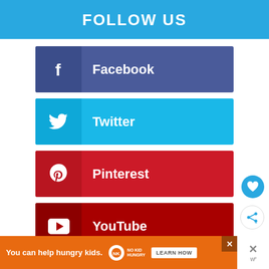FOLLOW US
Facebook
Twitter
Pinterest
YouTube
Instagram
HGG NEWSLETTER
You can help hungry kids. NOKID HUNGRY LEARN HOW